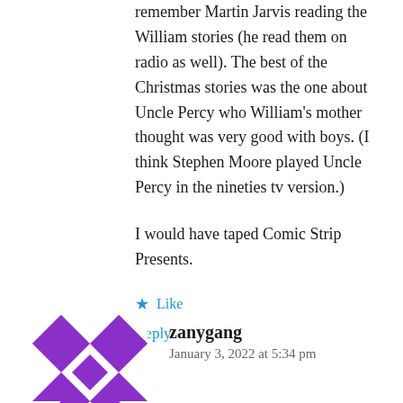remember Martin Jarvis reading the William stories (he read them on radio as well). The best of the Christmas stories was the one about Uncle Percy who William's mother thought was very good with boys. (I think Stephen Moore played Uncle Percy in the nineties tv version.)
I would have taped Comic Strip Presents.
★ Like
Reply
zanygang
January 3, 2022 at 5:34 pm